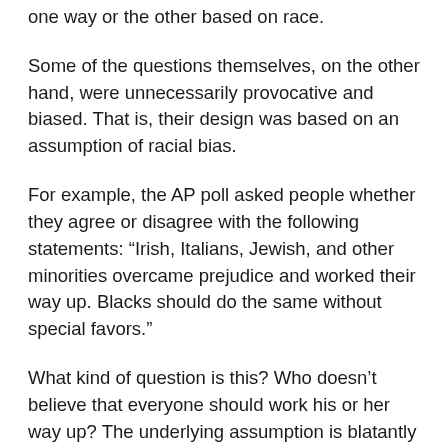one way or the other based on race.
Some of the questions themselves, on the other hand, were unnecessarily provocative and biased. That is, their design was based on an assumption of racial bias.
For example, the AP poll asked people whether they agree or disagree with the following statements: “Irish, Italians, Jewish, and other minorities overcame prejudice and worked their way up. Blacks should do the same without special favors.”
What kind of question is this? Who doesn’t believe that everyone should work his or her way up? The underlying assumption is blatantly racist, implying as it does that blacks don’t work and do expect special favors.
It is heartening that the majority, perhaps perceiving the trap, neither strongly agreed nor